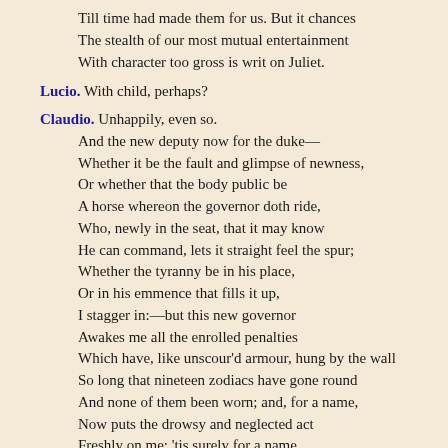Till time had made them for us. But it chances
The stealth of our most mutual entertainment
With character too gross is writ on Juliet.
Lucio. With child, perhaps?
Claudio. Unhappily, even so.
And the new deputy now for the duke—
Whether it be the fault and glimpse of newness,
Or whether that the body public be
A horse whereon the governor doth ride,
Who, newly in the seat, that it may know
He can command, lets it straight feel the spur;
Whether the tyranny be in his place,
Or in his emmence that fills it up,
I stagger in:—but this new governor
Awakes me all the enrolled penalties
Which have, like unscour'd armour, hung by the wall
So long that nineteen zodiacs have gone round
And none of them been worn; and, for a name,
Now puts the drowsy and neglected act
Freshly on me: 'tis surely for a name.
Lucio. I warrant it is: and thy head stands so tickle on thy shoulders that a milkmaid, if she be in love, may sigh it off. Send after the duke and appeal to